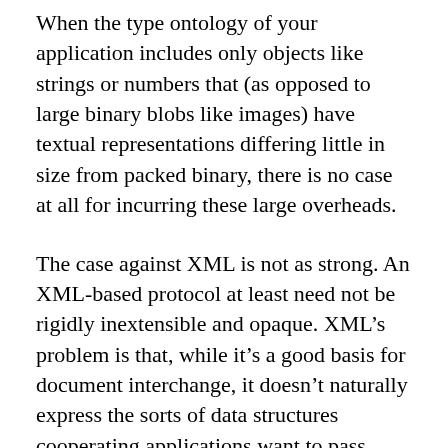When the type ontology of your application includes only objects like strings or numbers that (as opposed to large binary blobs like images) have textual representations differing little in size from packed binary, there is no case at all for incurring these large overheads.
The case against XML is not as strong. An XML-based protocol at least need not be rigidly inextensible and opaque. XML’s problem is that, while it’s a good basis for document interchange, it doesn’t naturally express the sorts of data structures cooperating applications want to pass around.
While such things can be layered over XML with an appropriate schema, the apparatus required for schema-aware parsing is necessarily complicated and heavy-weight, at a minimum of complexity and